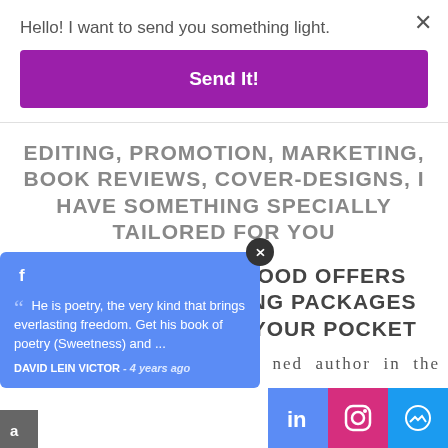Hello! I want to send you something light.
Send It!
EDITING, PROMOTION, MARKETING, BOOK REVIEWS, COVER-DESIGNS, I HAVE SOMETHING SPECIALLY TAILORED FOR YOU
PROSE &POETRY HOOD OFFERS PREMIUM PUBLISHING PACKAGES DESIGNED TO SUIT YOUR POCKET
He is poetry, the very kind that brings everlasting freedom. Get his book of poetry (Sweetness) and ...
DAVID LEIN VICTOR - 4 years ago